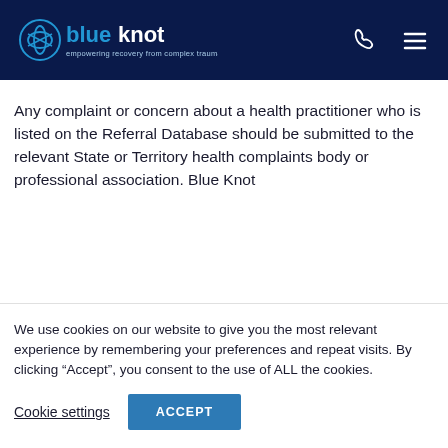Blue Knot Foundation — empowering recovery from complex trauma
Any complaint or concern about a health practitioner who is listed on the Referral Database should be submitted to the relevant State or Territory health complaints body or professional association. Blue Knot
We use cookies on our website to give you the most relevant experience by remembering your preferences and repeat visits. By clicking “Accept”, you consent to the use of ALL the cookies.
Cookie settings
ACCEPT